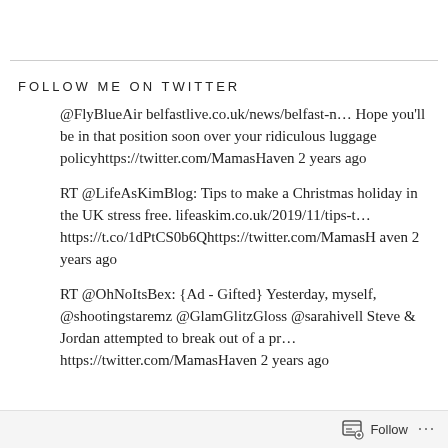FOLLOW ME ON TWITTER
@FlyBlueAir belfastlive.co.uk/news/belfast-n… Hope you'll be in that position soon over your ridiculous luggage policyhttps://twitter.com/MamasHaven 2 years ago
RT @LifeAsKimBlog: Tips to make a Christmas holiday in the UK stress free. lifeaskim.co.uk/2019/11/tips-t… https://t.co/1dPtCS0b6Qhttps://twitter.com/MamasHaven 2 years ago
RT @OhNoItsBex: {Ad - Gifted} Yesterday, myself, @shootingstaremz @GlamGlitzGloss @sarahivell Steve & Jordan attempted to break out of a pr… https://twitter.com/MamasHaven 2 years ago
Follow